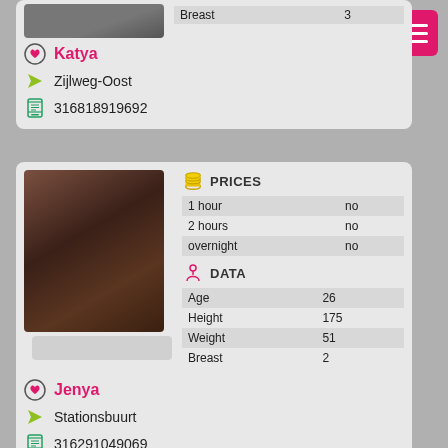|  |  |
| --- | --- |
| Breast | 3 |
Katya
Zijlweg-Oost
316818919692
[Figure (photo): Photo of woman (Jenya) posed at a table]
| PRICES |  |
| --- | --- |
| 1 hour | no |
| 2 hours | no |
| overnight | no |
| DATA |  |
| --- | --- |
| Age | 26 |
| Height | 175 |
| Weight | 51 |
| Breast | 2 |
Jenya
Stationsbuurt
316291049069